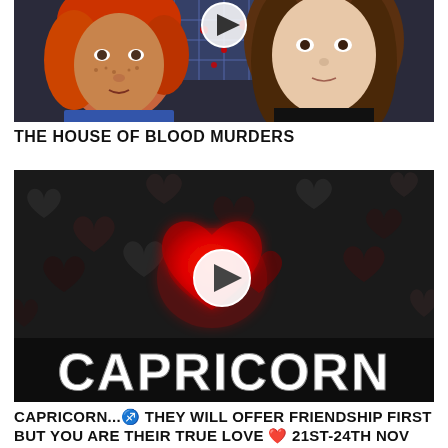[Figure (photo): Two women side by side: a woman with red/orange dyed hair and freckles on the left, and a young woman with long brown hair on the right, with a play button icon overlaid in the center-top area. Dark background with some red pattern elements.]
THE HOUSE OF BLOOD MURDERS
[Figure (illustration): Dark background with black and dark red heart shapes scattered around. A bright red glowing heart is in the center-left area with a white circular play button overlaid on it. Large bold white text reading 'CAPRICORN' is at the bottom of the image.]
CAPRICORN...♐ THEY WILL OFFER FRIENDSHIP FIRST BUT YOU ARE THEIR TRUE LOVE ♥️ 21ST-24TH NOV